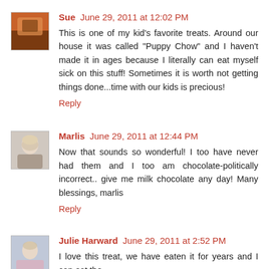[Figure (photo): Small avatar image for user Sue, showing dark brownish-orange tones]
Sue June 29, 2011 at 12:02 PM
This is one of my kid's favorite treats. Around our house it was called "Puppy Chow" and I haven't made it in ages because I literally can eat myself sick on this stuff! Sometimes it is worth not getting things done...time with our kids is precious!
Reply
[Figure (photo): Small avatar image for user Marlis, showing a woman with light hair]
Marlis June 29, 2011 at 12:44 PM
Now that sounds so wonderful! I too have never had them and I too am chocolate-politically incorrect.. give me milk chocolate any day! Many blessings, marlis
Reply
[Figure (photo): Small avatar image for user Julie Harward, showing a woman in an apron]
Julie Harward June 29, 2011 at 2:52 PM
I love this treat, we have eaten it for years and I can eat the